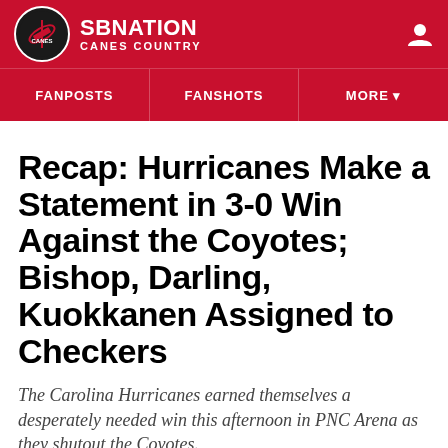SB NATION CANES COUNTRY
Recap: Hurricanes Make a Statement in 3-0 Win Against the Coyotes; Bishop, Darling, Kuokkanen Assigned to Checkers
The Carolina Hurricanes earned themselves a desperately needed win this afternoon in PNC Arena as they shutout the Coyotes.